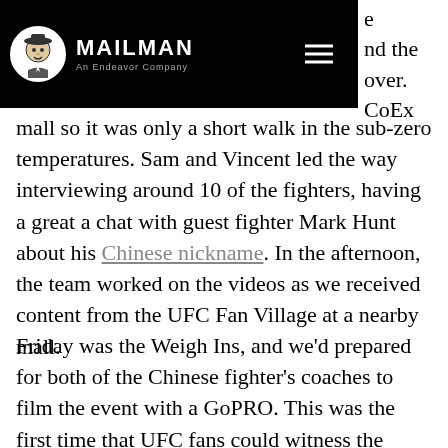MAILMAN — An Endeavor Company
mall so it was only a short walk in the sub-zero temperatures. Sam and Vincent led the way interviewing around 10 of the fighters, having a great a chat with guest fighter Mark Hunt about his Chinese nickname. In the afternoon, the team worked on the videos as we received content from the UFC Fan Village at a nearby mall.
Friday was the Weigh Ins, and we'd prepared for both of the Chinese fighter's coaches to film the event with a GoPRO. This was the first time that UFC fans could witness the Weigh Ins like this, with the video becoming extremely